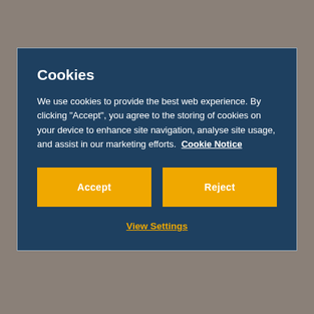[Figure (screenshot): Cookie consent modal dialog over a website background. The modal has a dark teal/navy background with white text. Title: 'Cookies'. Body text explains cookie usage. Two yellow 'Accept' and 'Reject' buttons. A 'View Settings' yellow underlined link below.]
Toddlers have their own room designed to encourage their individual interests and routines, with a dedicated toilet area to help with potty training.
Preschoolers will love their rooms, which have been thoughtfully designed for them to explore while discovering their independence. Children enjoy using the